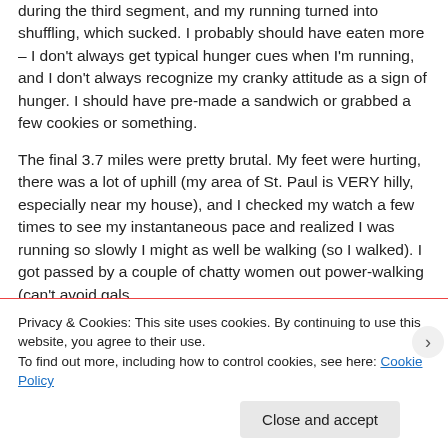during the third segment, and my running turned into shuffling, which sucked. I probably should have eaten more – I don't always get typical hunger cues when I'm running, and I don't always recognize my cranky attitude as a sign of hunger. I should have pre-made a sandwich or grabbed a few cookies or something.
The final 3.7 miles were pretty brutal. My feet were hurting, there was a lot of uphill (my area of St. Paul is VERY hilly, especially near my house), and I checked my watch a few times to see my instantaneous pace and realized I was running so slowly I might as well be walking (so I walked). I got passed by a couple of chatty women out power-walking (can't avoid gals
Privacy & Cookies: This site uses cookies. By continuing to use this website, you agree to their use.
To find out more, including how to control cookies, see here: Cookie Policy